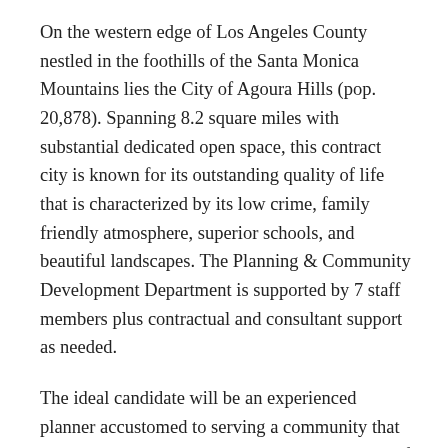On the western edge of Los Angeles County nestled in the foothills of the Santa Monica Mountains lies the City of Agoura Hills (pop. 20,878). Spanning 8.2 square miles with substantial dedicated open space, this contract city is known for its outstanding quality of life that is characterized by its low crime, family friendly atmosphere, superior schools, and beautiful landscapes. The Planning & Community Development Department is supported by 7 staff members plus contractual and consultant support as needed.
The ideal candidate will be an experienced planner accustomed to serving a community that values quality development and the importance of protecting the environment. He/she will be adept at balancing various perspectives and interests and be proactive in offering up creative solutions that are aligned with community priorities. Competitive candidates will possess a minimum of five years of progressively responsible experience in urban planning or a related...